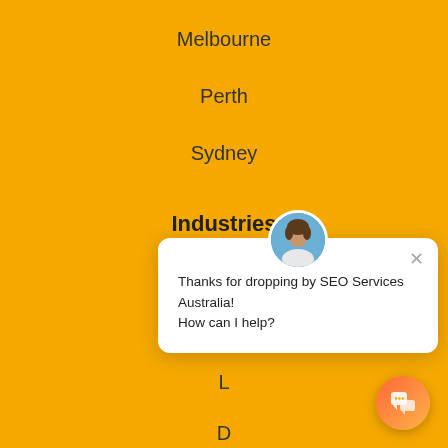Melbourne
Perth
Sydney
Industries
Real Estate
E-C…
L…
D…
Small Business
Restaurants
[Figure (screenshot): Chat popup with avatar photo of a woman, close button, and text: Thanks for dropping by SEO Services Australia! How can I help?]